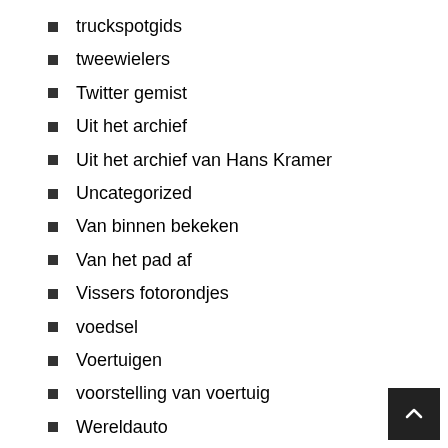truckspotgids
tweewielers
Twitter gemist
Uit het archief
Uit het archief van Hans Kramer
Uncategorized
Van binnen bekeken
Van het pad af
Vissers fotorondjes
voedsel
Voertuigen
voorstelling van voertuig
Wereldauto
What's in a name
Wietze Koopmans